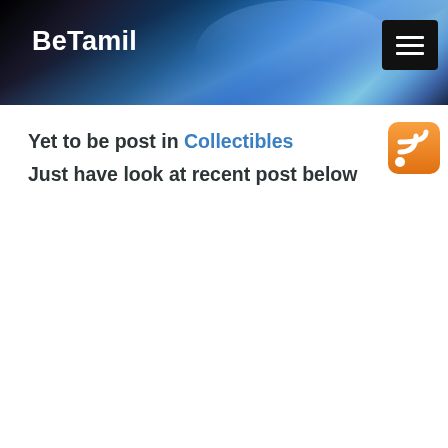BeTamil
Yet to be post in Collectibles
Just have look at recent post below
[Figure (logo): RSS feed icon — orange rounded square with white WiFi-style signal arcs]